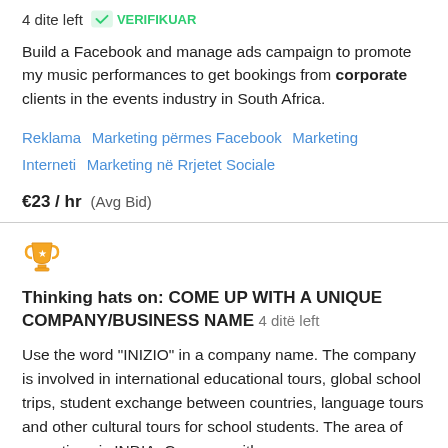4 dite left   VERIFIKUAR
Build a Facebook and manage ads campaign to promote my music performances to get bookings from corporate clients in the events industry in South Africa.
Reklama   Marketing përmes Facebook   Marketing Interneti   Marketing në Rrjetet Sociale
€23 / hr  (Avg Bid)
Thinking hats on: COME UP WITH A UNIQUE COMPANY/BUSINESS NAME  4 ditë left
Use the word "INIZIO" in a company name. The company is involved in international educational tours, global school trips, student exchange between countries, language tours and other cultural tours for school students. The area of operations is INDIA. Come up with a company...
Copywriting   Shkrim Artistik   Marketing përmes Facebook   Social Media Copy   Marketing në Rrjetet